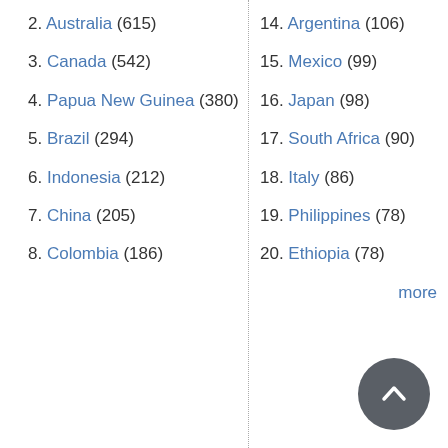2. Australia (615)
3. Canada (542)
4. Papua New Guinea (380)
5. Brazil (294)
6. Indonesia (212)
7. China (205)
8. Colombia (186)
14. Argentina (106)
15. Mexico (99)
16. Japan (98)
17. South Africa (90)
18. Italy (86)
19. Philippines (78)
20. Ethiopia (78)
more
[Figure (illustration): Back to top button — circular dark grey button with upward-pointing chevron arrow]